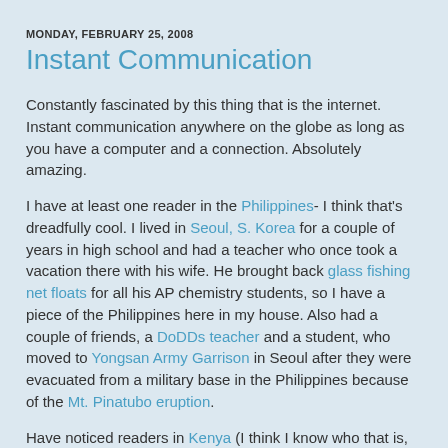MONDAY, FEBRUARY 25, 2008
Instant Communication
Constantly fascinated by this thing that is the internet. Instant communication anywhere on the globe as long as you have a computer and a connection. Absolutely amazing.
I have at least one reader in the Philippines- I think that's dreadfully cool. I lived in Seoul, S. Korea for a couple of years in high school and had a teacher who once took a vacation there with his wife. He brought back glass fishing net floats for all his AP chemistry students, so I have a piece of the Philippines here in my house. Also had a couple of friends, a DoDDs teacher and a student, who moved to Yongsan Army Garrison in Seoul after they were evacuated from a military base in the Philippines because of the Mt. Pinatubo eruption.
Have noticed readers in Kenya (I think I know who that is, as I do know one family there, hope you all are safe and well).